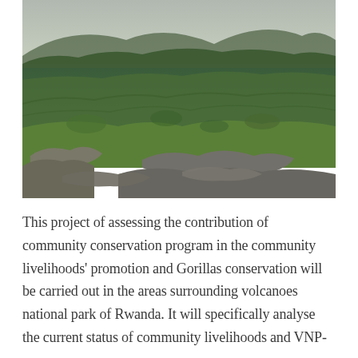[Figure (photo): Outdoor landscape photograph showing a grassy hillside with volcanic rocks in the foreground, lush green vegetation covering rolling hills in the middle ground, and mountains with trees visible in the background under an overcast sky. The scene appears to be in a highland/mountainous region of Africa.]
This project of assessing the contribution of community conservation program in the community livelihoods' promotion and Gorillas conservation will be carried out in the areas surrounding volcanoes national park of Rwanda. It will specifically analyse the current status of community livelihoods and VNP-